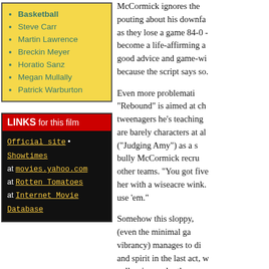Basketball
Steve Carr
Martin Lawrence
Breckin Meyer
Horatio Sanz
Megan Mullally
Patrick Warburton
LINKS for this film
Official site • Showtimes at movies.yahoo.com at Rotten Tomatoes at Internet Movie Database
McCormick ignores the pouting about his downfall as they lose a game 84-0 - become a life-affirming a good advice and game-wi because the script says so.
Even more problemati "Rebound" is aimed at ch tweenagers he's teaching are barely characters at al ("Judging Amy") as a s bully McCormick recru other teams. "You got five her with a wiseacre wink. use 'em."
Somehow this sloppy, (even the minimal ga vibrancy) manages to di and spirit in the last act, w collapsing under the w ineptitude. Kids may lik enough to recognize its them, and accompanying to claw their eyes out.